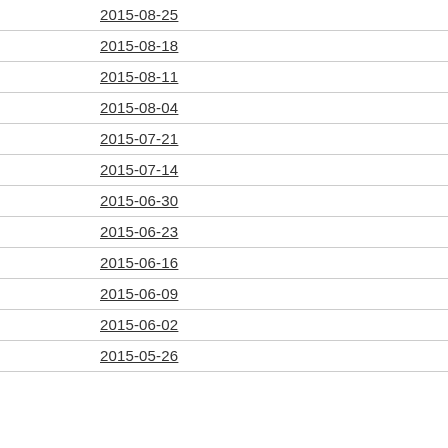2015-08-25
2015-08-18
2015-08-11
2015-08-04
2015-07-21
2015-07-14
2015-06-30
2015-06-23
2015-06-16
2015-06-09
2015-06-02
2015-05-26